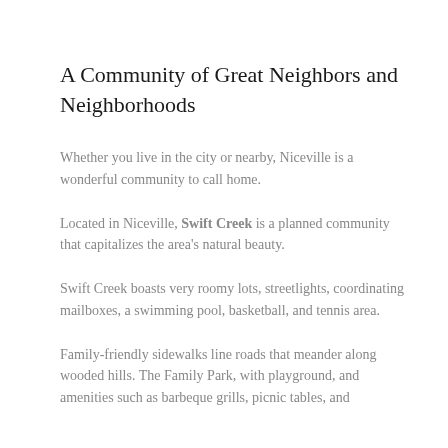A Community of Great Neighbors and Neighborhoods
Whether you live in the city or nearby, Niceville is a wonderful community to call home.
Located in Niceville, Swift Creek is a planned community that capitalizes the area's natural beauty.
Swift Creek boasts very roomy lots, streetlights, coordinating mailboxes, a swimming pool, basketball, and tennis area.
Family-friendly sidewalks line roads that meander along wooded hills. The Family Park, with playground, and amenities such as barbeque grills, picnic tables, and